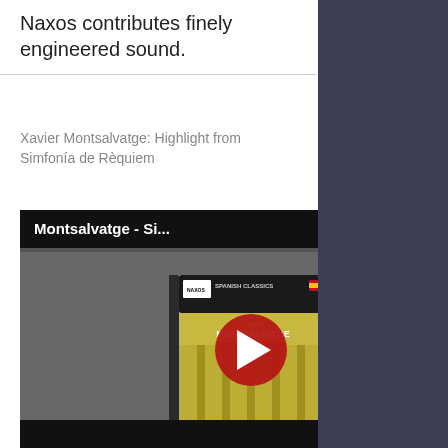Naxos contributes finely engineered sound.
Xavier Montsalvatge: Highlight from Simfonía de Rèquiem
[Figure (screenshot): YouTube video thumbnail showing a Naxos CD cover for Xavier Montsalvatge Simfonía de Rèquiem with a red YouTube play button overlay. Video title reads 'Montsalvatge - Si...']